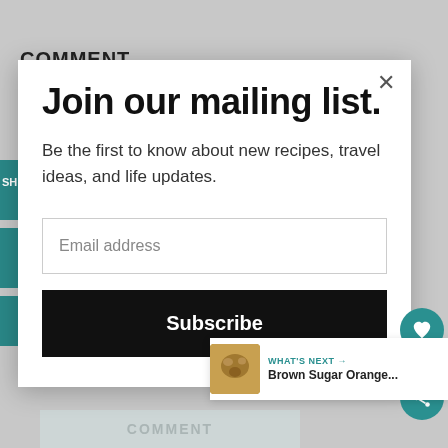COMMENT
[Figure (screenshot): Website screenshot showing a mailing list signup modal popup with title 'Join our mailing list.', description text, email address input field, Subscribe button, heart/like button with count 41, share button, and a 'What's Next' thumbnail for 'Brown Sugar Orange...']
Join our mailing list.
Be the first to know about new recipes, travel ideas, and life updates.
Email address
Subscribe
41
WHAT'S NEXT → Brown Sugar Orange...
COMMENT